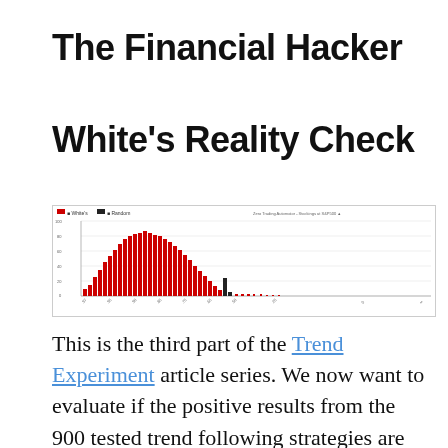The Financial Hacker
White's Reality Check
[Figure (bar-chart): Bar chart showing distribution of test results for trend following strategies, with red bars on the left side and small black bars in the middle, trailing off to tiny dots on the right. Legend shows White's and Random labels. Annotation references 'Zero Trading Automator - Stockings at S&P500'.]
This is the third part of the Trend Experiment article series. We now want to evaluate if the positive results from the 900 tested trend following strategies are for real, or just caused by Data Mining Bias. But what is Data Mining Bias, after all? And what is this ominous